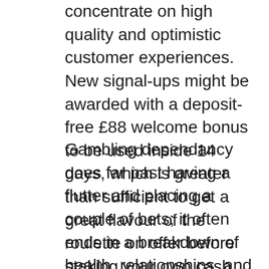concentrate on high quality and optimistic customer experiences. New signal-ups might be awarded with a deposit-free £88 welcome bonus to be used inside 14 days, which is greater than sufficient to get a great flavour of the roulette on offer before staking your own cash.
Gambling dependancy goes far past having a flutter and placing a couple of bets; it often ends in a breakdown of health, relationships, and jobs. Suicide rates for gamblers are higher than for any other addiction. disinhibited environment' can mean that more money is gambled. It's additionally a way for susceptible individuals to participate in something they may already have a problem with, but go undetected. Wood et al. said that the convenience, comfort and ease of internet playing are main components that make it so compelling. With no opening hours to fret about, and noID checks, anyone can gamble online at any time of